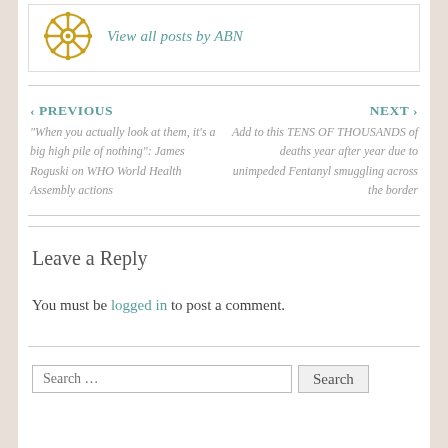[Figure (logo): Golden ship wheel icon (author avatar)]
View all posts by ABN
‹ PREVIOUS
"When you actually look at them, it's a big high pile of nothing": James Roguski on WHO World Health Assembly actions
NEXT ›
Add to this TENS OF THOUSANDS of deaths year after year due to unimpeded Fentanyl smuggling across the border
Leave a Reply
You must be logged in to post a comment.
Search …